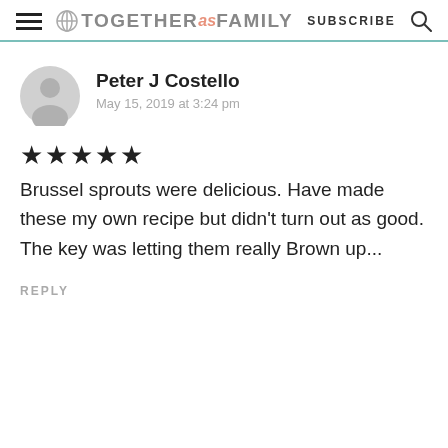TOGETHER as FAMILY — SUBSCRIBE
Peter J Costello
May 15, 2019 at 3:24 pm
★★★★★
Brussel sprouts were delicious. Have made these my own recipe but didn't turn out as good. The key was letting them really Brown up...
REPLY